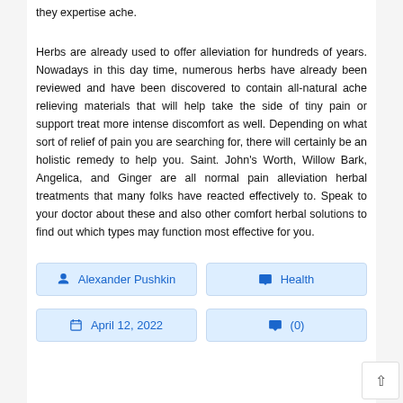they expertise ache.
Herbs are already used to offer alleviation for hundreds of years. Nowadays in this day time, numerous herbs have already been reviewed and have been discovered to contain all-natural ache relieving materials that will help take the side of tiny pain or support treat more intense discomfort as well. Depending on what sort of relief of pain you are searching for, there will certainly be an holistic remedy to help you. Saint. John's Worth, Willow Bark, Angelica, and Ginger are all normal pain alleviation herbal treatments that many folks have reacted effectively to. Speak to your doctor about these and also other comfort herbal solutions to find out which types may function most effective for you.
Alexander Pushkin
Health
April 12, 2022
(0)